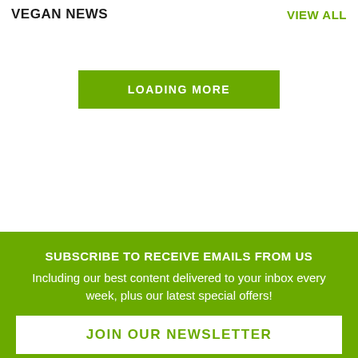VEGAN NEWS
VIEW ALL
LOADING MORE
SUBSCRIBE TO RECEIVE EMAILS FROM US
Including our best content delivered to your inbox every week, plus our latest special offers!
JOIN OUR NEWSLETTER
We use cookies to give you a better experience on veganfoodandliving.com. By continuing to use our site, you are agreeing to the use of cookies as set in our Cookie Policy.
OK, got it